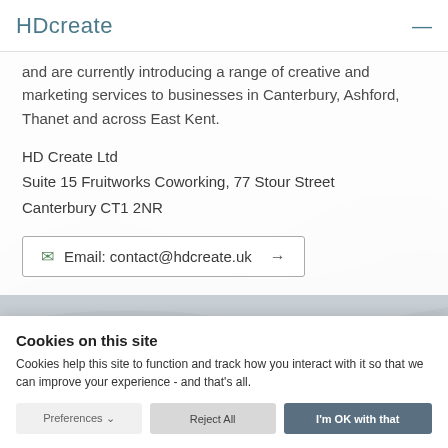HDcreate
and are currently introducing a range of creative and marketing services to businesses in Canterbury, Ashford, Thanet and across East Kent.
HD Create Ltd
Suite 15 Fruitworks Coworking, 77 Stour Street
Canterbury CT1 2NR
Email: contact@hdcreate.uk →
Cookies on this site
Cookies help this site to function and track how you interact with it so that we can improve your experience - and that's all.
Preferences ∨   Reject All   I'm OK with that